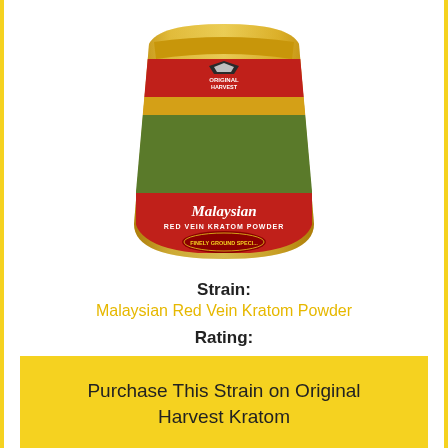[Figure (photo): Product image of Original Harvest Malaysian Red Vein Kratom Powder in a gold and red foil pouch with green powder visible through a window, and mountain logo on front.]
Strain:
Malaysian Red Vein Kratom Powder
Rating:
[Figure (other): Five gold star rating icons]
Purchase This Strain on Original Harvest Kratom